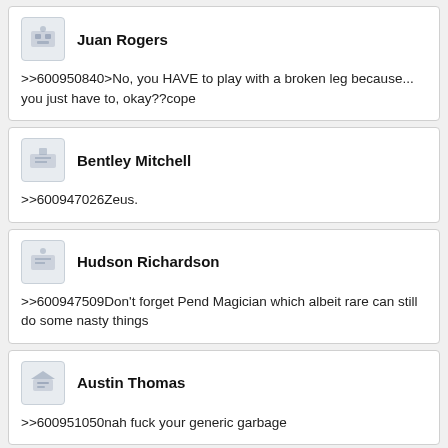Juan Rogers
>>600950840>No, you HAVE to play with a broken leg because... you just have to, okay??cope
Bentley Mitchell
>>600947026Zeus.
Hudson Richardson
>>600947509Don't forget Pend Magician which albeit rare can still do some nasty things
Austin Thomas
>>600951050nah fuck your generic garbage
Carter Garcia (partial)